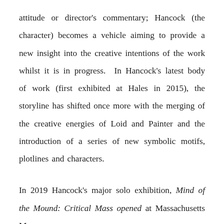attitude or director's commentary; Hancock (the character) becomes a vehicle aiming to provide a new insight into the creative intentions of the work whilst it is in progress. In Hancock's latest body of work (first exhibited at Hales in 2015), the storyline has shifted once more with the merging of the creative energies of Loid and Painter and the introduction of a series of new symbolic motifs, plotlines and characters.
In 2019 Hancock's major solo exhibition, Mind of the Mound: Critical Mass opened at Massachusetts Museum